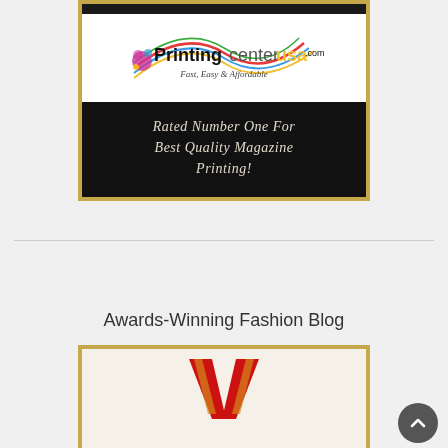[Figure (logo): PrintingCenterUSA.com advertisement banner with logo on white background and text 'Rated Number One For Best Quality Magazine Printing!' on black background, framed in gold/tan border]
Awards-Winning Fashion Blog
[Figure (logo): Partial view of Awards-Winning Fashion Blog logo showing a red and gold V-shaped emblem on cream/tan background, framed in gold border]